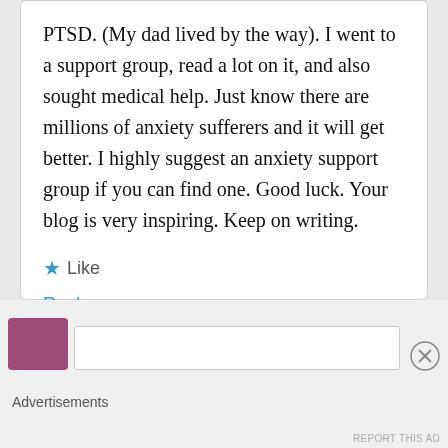PTSD. (My dad lived by the way). I went to a support group, read a lot on it, and also sought medical help. Just know there are millions of anxiety sufferers and it will get better. I highly suggest an anxiety support group if you can find one. Good luck. Your blog is very inspiring. Keep on writing.
Like
Reply
Advertisements